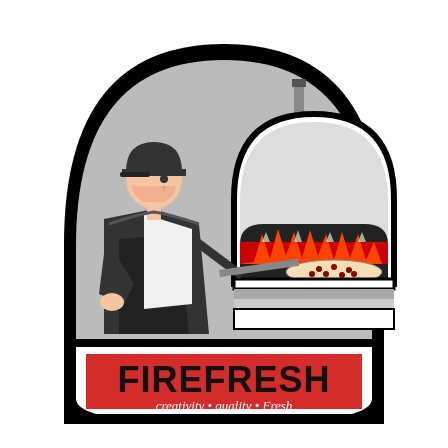[Figure (logo): FireFresh logo: a retro-style badge/shield shape with a black thick border. Upper portion is an arch shape with gray background showing a stylized pizza maker in black wearing a cap and apron, using a long-handled peel to slide a pizza into a wood-fired oven with red flames visible inside. Lower rectangular portion has a red background with the text FIREFRESH in large bold black letters, and below that in white italic text: creativity • quality • Fresh]